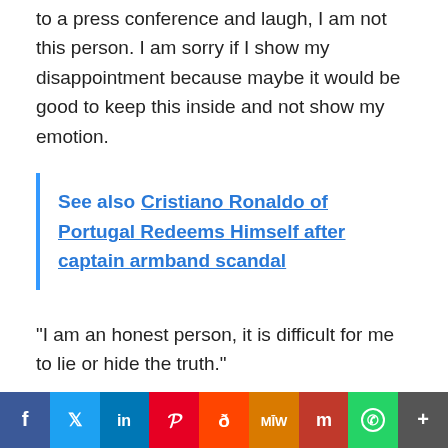to a press conference and laugh, I am not this person. I am sorry if I show my disappointment because maybe it would be good to keep this inside and not show my emotion.
See also  Cristiano Ronaldo of Portugal Redeems Himself after captain armband scandal
“I am an honest person, it is difficult for me to lie or hide the truth.”
[Figure (infographic): Social media share bar with icons for Facebook, Twitter, LinkedIn, Pinterest, Reddit, MeWe, Mix, WhatsApp, and More]